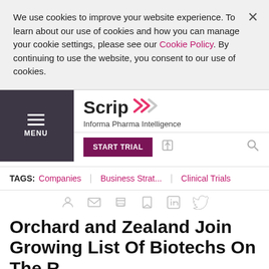We use cookies to improve your website experience. To learn about our use of cookies and how you can manage your cookie settings, please see our Cookie Policy. By continuing to use the website, you consent to our use of cookies.
Scrip – Informa Pharma Intelligence
TAGS: Companies | Business Strat... | Clinical Trials
Orchard and Zealand Join Growing List Of Biotechs On The...